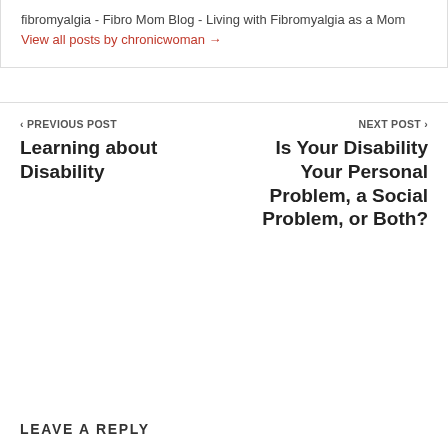fibromyalgia - Fibro Mom Blog - Living with Fibromyalgia as a Mom View all posts by chronicwoman →
‹ PREVIOUS POST
Learning about Disability
NEXT POST ›
Is Your Disability Your Personal Problem, a Social Problem, or Both?
LEAVE A REPLY